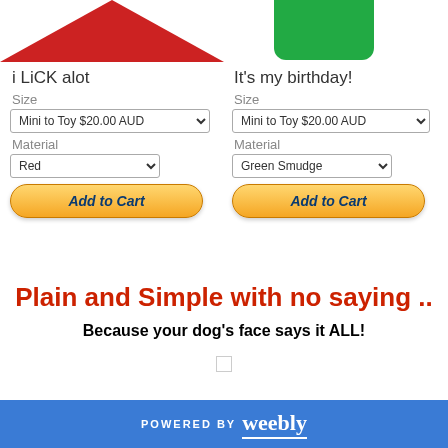[Figure (photo): Partial red triangular bandana/product image cropped at top left]
i LiCK alot
Size
Mini to Toy $20.00 AUD
Material
Red
Add to Cart
[Figure (photo): Partial green product image cropped at top right]
It's my birthday!
Size
Mini to Toy $20.00 AUD
Material
Green Smudge
Add to Cart
Plain and Simple with no saying ..
Because your dog's face says it ALL!
POWERED BY weebly